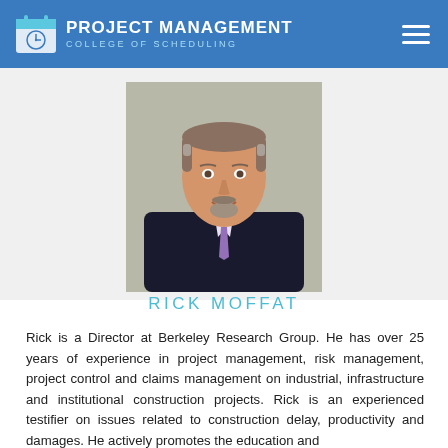PROJECT MANAGEMENT COLLEGE OF SCHEDULING
[Figure (photo): Professional headshot of Rick Moffat, a middle-aged man in a dark suit with a lavender tie, smiling.]
RICK MOFFAT
Rick is a Director at Berkeley Research Group. He has over 25 years of experience in project management, risk management, project control and claims management on industrial, infrastructure and institutional construction projects. Rick is an experienced testifier on issues related to construction delay, productivity and damages. He actively promotes the education and